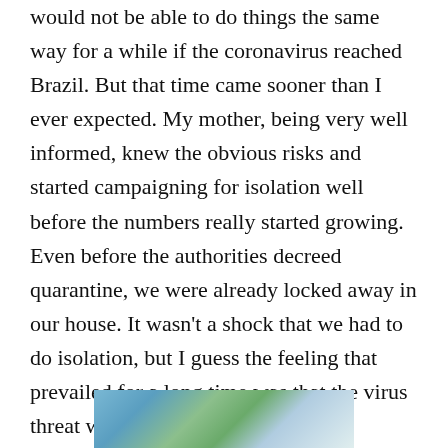would not be able to do things the same way for a while if the coronavirus reached Brazil. But that time came sooner than I ever expected. My mother, being very well informed, knew the obvious risks and started campaigning for isolation well before the numbers really started growing. Even before the authorities decreed quarantine, we were already locked away in our house. It wasn't a shock that we had to do isolation, but I guess the feeling that prevailed for a long time was that the virus threat wouldn't take long to pass.
[Figure (photo): Partial photo visible at bottom of page, showing outdoor scene with blue sky and greenery]